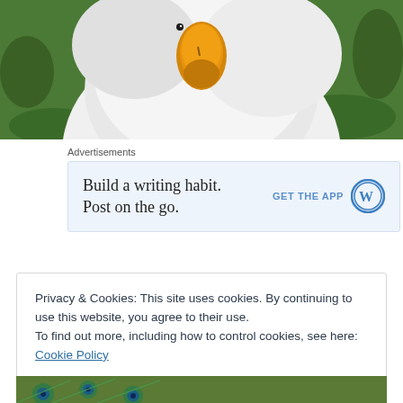[Figure (photo): Close-up photo of a white duck with an orange-yellow beak, viewed from above, against a green grass background]
Advertisements
[Figure (screenshot): WordPress advertisement banner: 'Build a writing habit. Post on the go.' with a 'GET THE APP' button and WordPress logo]
Privacy & Cookies: This site uses cookies. By continuing to use this website, you agree to their use.
To find out more, including how to control cookies, see here: Cookie Policy
Close and accept
[Figure (photo): Partial view of peacock feathers at the bottom of the page]